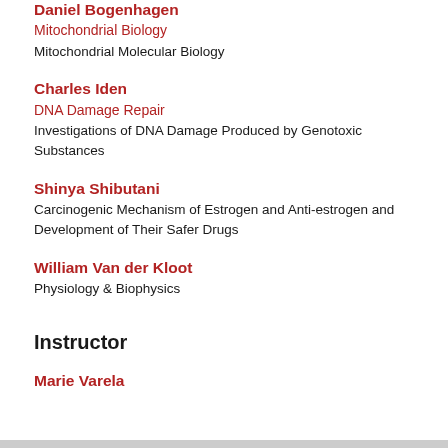Daniel Bogenhagen
Mitochondrial Biology
Mitochondrial Molecular Biology
Charles Iden
DNA Damage Repair
Investigations of DNA Damage Produced by Genotoxic Substances
Shinya Shibutani
Carcinogenic Mechanism of Estrogen and Anti-estrogen and Development of Their Safer Drugs
William Van der Kloot
Physiology & Biophysics
Instructor
Marie Varela